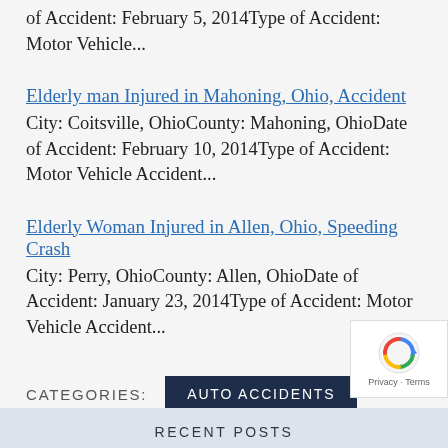of Accident: February 5, 2014Type of Accident: Motor Vehicle...
Elderly man Injured in Mahoning, Ohio, Accident
City: Coitsville, OhioCounty: Mahoning, OhioDate of Accident: February 10, 2014Type of Accident: Motor Vehicle Accident...
Elderly Woman Injured in Allen, Ohio, Speeding Crash
City: Perry, OhioCounty: Allen, OhioDate of Accident: January 23, 2014Type of Accident: Motor Vehicle Accident...
CATEGORIES:  AUTO ACCIDENTS
RECENT POSTS